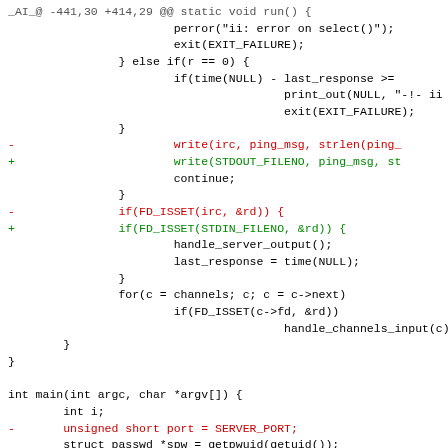Diff/patch code snippet showing changes to a C source file, including modifications to IRC socket calls replaced with STDIN_FILENO/STDOUT_FILENO, and a main() function definition.